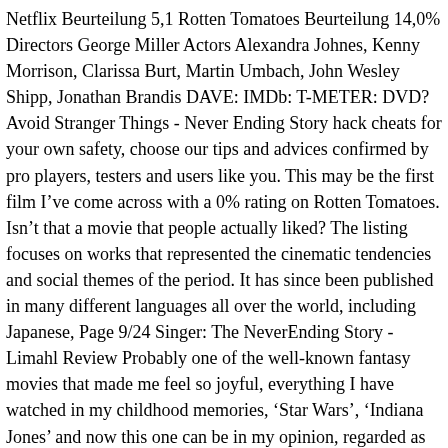Netflix Beurteilung 5,1 Rotten Tomatoes Beurteilung 14,0% Directors George Miller Actors Alexandra Johnes, Kenny Morrison, Clarissa Burt, Martin Umbach, John Wesley Shipp, Jonathan Brandis DAVE: IMDb: T-METER: DVD? Avoid Stranger Things - Never Ending Story hack cheats for your own safety, choose our tips and advices confirmed by pro players, testers and users like you. This may be the first film Iâve come across with a 0% rating on Rotten Tomatoes. Isnât that a movie that people actually liked? The listing focuses on works that represented the cinematic tendencies and social themes of the period. It has since been published in many different languages all over the world, including Japanese, Page 9/24 Singer: The NeverEnding Story - Limahl Review Probably one of the well-known fantasy movies that made me feel so joyful, everything I have watched in my childhood memories, 'Star Wars', 'Indiana Jones' and now this one can be in my opinion, regarded as absolutely equal in its spirituality of showing adventure and fantasy. The Neverending Story II: The Next Chapter Action & adventure In this sequel to the 1984 film, our young hero, Bastian, again bored with the real world, returns to his storybook's magical land of Fantasia and attempts to